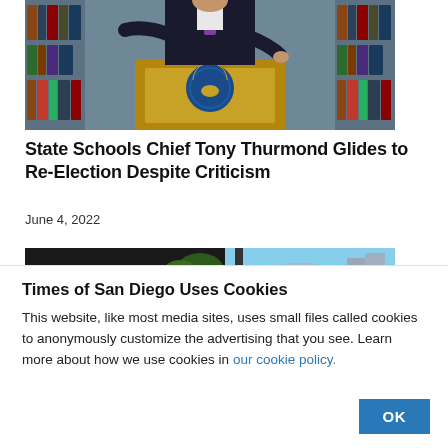[Figure (photo): A person in a suit with a purple tie stands at a podium with the California Governor's seal, in front of bookshelves.]
State Schools Chief Tony Thurmond Glides to Re-Election Despite Criticism
June 4, 2022
[Figure (photo): Exterior photo of buildings with signage partially visible, including 'WO' and 'W' letters, with a skyline in the background.]
Times of San Diego Uses Cookies
This website, like most media sites, uses small files called cookies to anonymously customize the advertising that you see. Learn more about how we use cookies in our cookie policy.